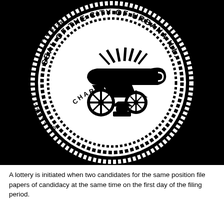[Figure (logo): Official seal of the City of Urbana, Illinois. Black and white circular seal with rope border, dotted inner rings, text reading 'SEAL OF THE CITY OF URBANA ILL.' around the top, 'ORGANIZED UNDER GENERAL LAW 1873' along the left and right sides, 'CHARTERED 1855' along the bottom, with a cannon and anvil in the center.]
A lottery is initiated when two candidates for the same position file papers of candidacy at the same time on the first day of the filing period.